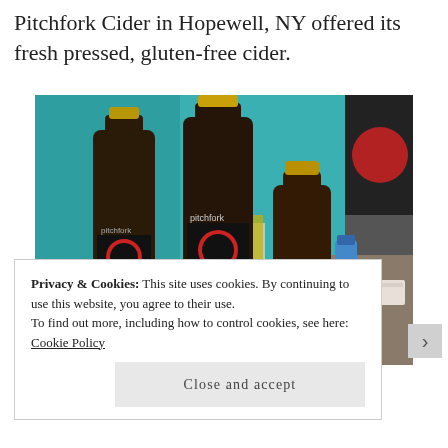Pitchfork Cider in Hopewell, NY offered its fresh pressed, gluten-free cider.
[Figure (photo): Three dark brown glass bottles of Pitchfork Hard Cider with gold caps displayed on a table at a trade show. Two larger bottles show the Pitchfork label with an apple logo. A teal/cyan curtain backdrop is visible in the background along with a blue water bottle and folded towels.]
Privacy & Cookies: This site uses cookies. By continuing to use this website, you agree to their use.
To find out more, including how to control cookies, see here: Cookie Policy
Close and accept